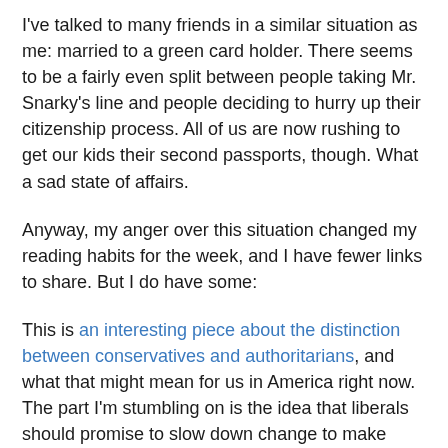I've talked to many friends in a similar situation as me: married to a green card holder. There seems to be a fairly even split between people taking Mr. Snarky's line and people deciding to hurry up their citizenship process. All of us are now rushing to get our kids their second passports, though. What a sad state of affairs.
Anyway, my anger over this situation changed my reading habits for the week, and I have fewer links to share. But I do have some:
This is an interesting piece about the distinction between conservatives and authoritarians, and what that might mean for us in America right now. The part I'm stumbling on is the idea that liberals should promise to slow down change to make conservatives willing to join in a coalition against authoritarians. I get why that might be a good strategy, but I can't get past the fact that there are a lot of people out there, waiting for the change to happen. It galls me to think we have to tell trans people to wait for the right to go to the bathroom in public buildings, or Black people to wait for us to work more on addressing the systemic racism that has